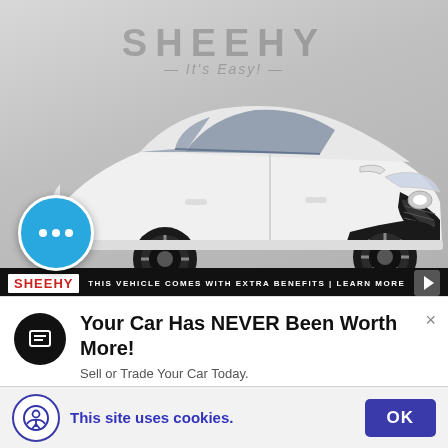[Figure (photo): White Toyota Camry SE photographed from front-left angle in a dealership showroom. Sheehy dealership watermark logo visible in the background. Car has black sport wheels, aggressive front grille, and sleek profile.]
THIS VEHICLE COMES WITH EXTRA BENEFITS | LEARN MORE
Your Car Has NEVER Been Worth More!
Sell or Trade Your Car Today.
This site uses cookies.